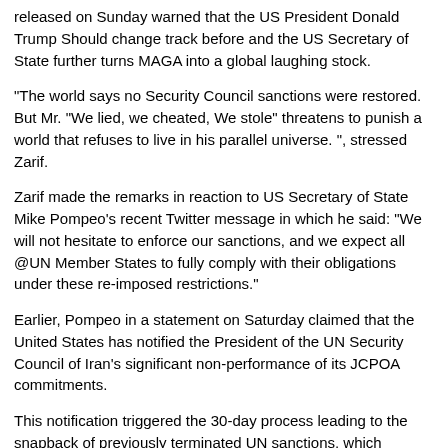released on Sunday warned that the US President Donald Trump Should change track before and the US Secretary of State further turns MAGA into a global laughing stock.
"The world says no Security Council sanctions were restored. But Mr. "We lied, we cheated, We stole" threatens to punish a world that refuses to live in his parallel universe. ", stressed Zarif.
Zarif made the remarks in reaction to US Secretary of State Mike Pompeo's recent Twitter message in which he said: "We will not hesitate to enforce our sanctions, and we expect all @UN Member States to fully comply with their obligations under these re-imposed restrictions."
Earlier, Pompeo in a statement on Saturday claimed that the United States has notified the President of the UN Security Council of Iran's significant non-performance of its JCPOA commitments.
This notification triggered the 30-day process leading to the snapback of previously terminated UN sanctions, which became effective at 8 pm Eastern Daylight Time on September 19, the statement reads.
This is while, Iranian Foreign Minister Mohammad Javad Zarif on Saturday said snapback mechanism is not the one by which to return sanctions for the sake of a single country.